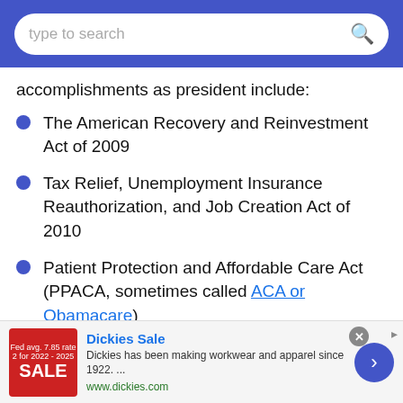type to search
accomplishments as president include:
The American Recovery and Reinvestment Act of 2009
Tax Relief, Unemployment Insurance Reauthorization, and Job Creation Act of 2010
Patient Protection and Affordable Care Act (PPACA, sometimes called ACA or Obamacare)
Dodd-Frank Wall Street Reform and Consumer Protection Act
Don't Ask, Don't Tell Repeal Act of 2010
[Figure (screenshot): Advertisement banner for Dickies Sale. Red sale image on left, with text 'Dickies Sale - Dickies has been making workwear and apparel since 1922. www.dickies.com']